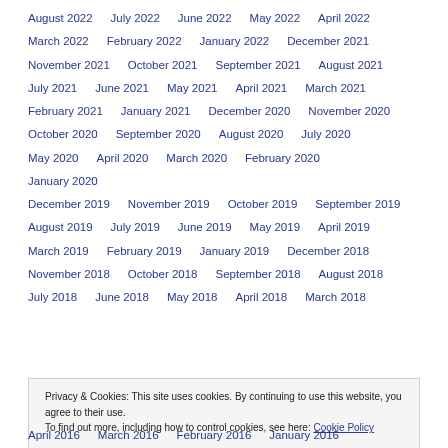August 2022
July 2022
June 2022
May 2022
April 2022
March 2022
February 2022
January 2022
December 2021
November 2021
October 2021
September 2021
August 2021
July 2021
June 2021
May 2021
April 2021
March 2021
February 2021
January 2021
December 2020
November 2020
October 2020
September 2020
August 2020
July 2020
May 2020
April 2020
March 2020
February 2020
January 2020
December 2019
November 2019
October 2019
September 2019
August 2019
July 2019
June 2019
May 2019
April 2019
March 2019
February 2019
January 2019
December 2018
November 2018
October 2018
September 2018
August 2018
July 2018
June 2018
May 2018
April 2018
March 2018
Privacy & Cookies: This site uses cookies. By continuing to use this website, you agree to their use. To find out more, including how to control cookies, see here: Cookie Policy
April 2016
March 2016
February 2016
January 2016